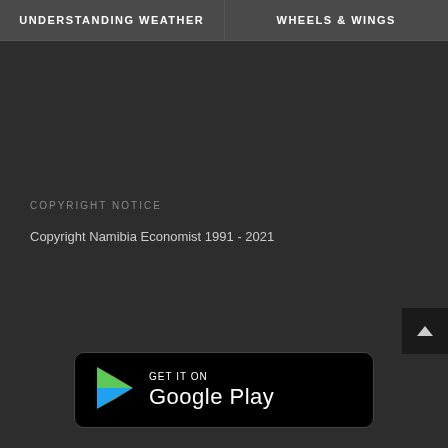UNDERSTANDING WEATHER | WHEELS & WINGS
COPYRIGHT NOTICE
Copyright Namibia Economist 1991 - 2021
[Figure (logo): Google Play badge with Play Store triangle icon in red, green, yellow, and blue colors, text 'GET IT ON Google Play' on black rounded rectangle background]